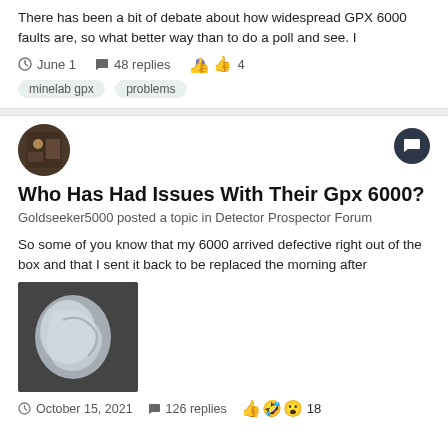There has been a bit of debate about how widespread GPX 6000 faults are, so what better way than to do a poll and see. I
June 1  48 replies  4
minelab gpx   problems
[Figure (photo): Circular avatar photo of a user with dark background showing mining equipment]
Who Has Had Issues With Their Gpx 6000?
Goldseeker5000 posted a topic in Detector Prospector Forum
So some of you know that my 6000 arrived defective right out of the box and that I sent it back to be replaced the morning after
[Figure (photo): Thumbnail photo showing a white/silver curved metallic object, possibly part of a metal detector]
October 15, 2021  126 replies  18